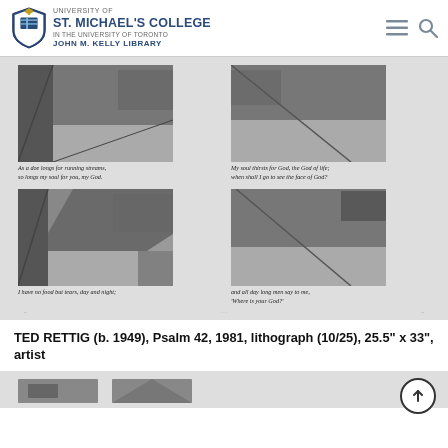University of St. Michael's College in the University of Toronto — John M. Kelly Library
[Figure (photo): Four black-and-white photographs of a sidewalk/pavement scene, arranged in a 2x2 grid, each with an italic caption quoting from Psalm 42]
As a doe longs for running streams, so longs my soul for you, my God.
My soul thirsts for God, the God of life; when shall I go to see the face of God?
I have no food but tears, day and night;
and all day long men say to me, 'Where is your God?'
TED RETTIG (b. 1949), Psalm 42, 1981, lithograph (10/25), 25.5" x 33", artist